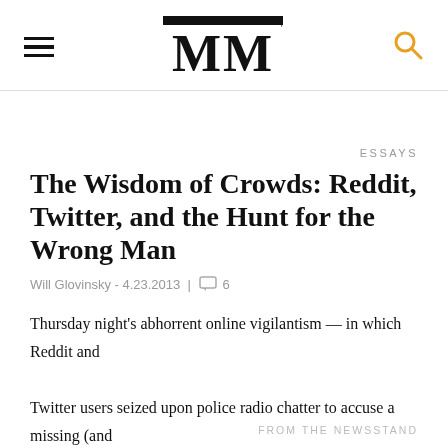MM
ESSAYS
The Wisdom of Crowds: Reddit, Twitter, and the Hunt for the Wrong Man
Will Glovinsky - 4.23.2013 | 6
Thursday night’s abhorrent online vigilantism — in which Reddit and Twitter users seized upon police radio chatter to accuse a missing (and
FROM THE NEWSSTAND